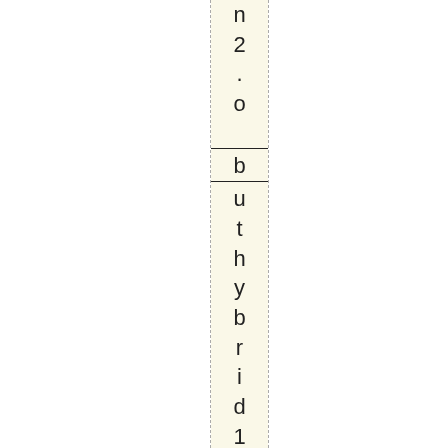n2.0|but hybrid1.xDLLsdon, t work